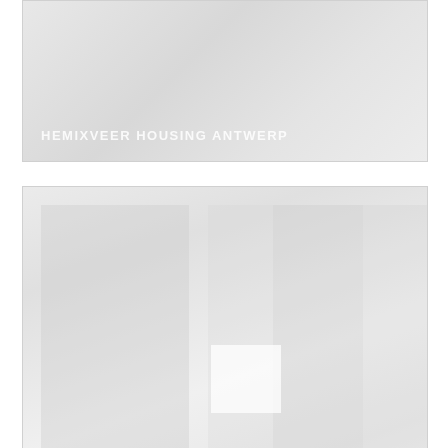[Figure (photo): Faded architectural photo of Hemixveer Housing Antwerp with caption overlay in white text at bottom left]
HEMIXVEER HOUSING ANTWERP
[Figure (photo): Faded architectural photo of De Koninck Brewery Antwerp with caption overlay in white text at bottom left]
DE KONINCK BREWERY ANTWERP